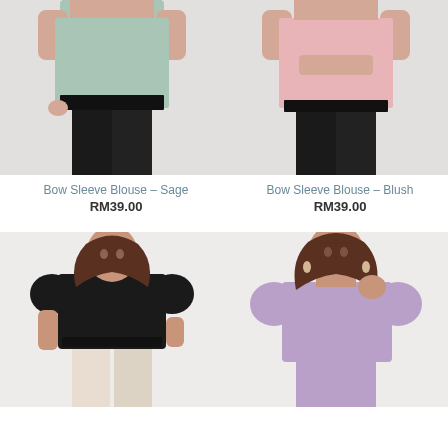[Figure (photo): Woman in sage/mint bow sleeve blouse with black trousers, cropped torso view]
[Figure (photo): Woman in pink bow sleeve blouse with black trousers, cropped torso view]
Bow Sleeve Blouse – Sage
RM39.00
Bow Sleeve Blouse – Blush
RM39.00
[Figure (photo): Young woman wearing black puff sleeve top with beige trousers, full upper body view]
[Figure (photo): Young woman wearing purple/lavender puff sleeve top, upper body view]